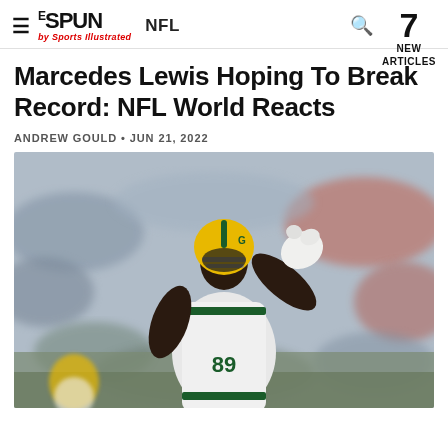THE SPUN by Sports Illustrated | NFL | 7 NEW ARTICLES
Marcedes Lewis Hoping To Break Record: NFL World Reacts
ANDREW GOULD • JUN 21, 2022
[Figure (photo): Green Bay Packers player (Marcedes Lewis, #89) in white uniform and green/gold helmet, raising his hand/glove toward the camera, with a blurred crowd in the background.]